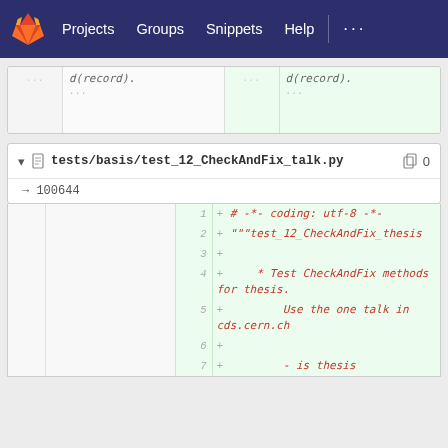Projects  Groups  Snippets  Help
d(record).
...
d(record).
...
tests/basis/test_12_CheckAndFix_talk.py  0
→ 100644
1  +  # -*- coding: utf-8 -*-
2  +  """test_12_CheckAndFix_thesis
3  +
4  +      * Test CheckAndFix methods for thesis.
5  +          Use the one talk in cds.cern.ch
6  +
7  +          - is thesis